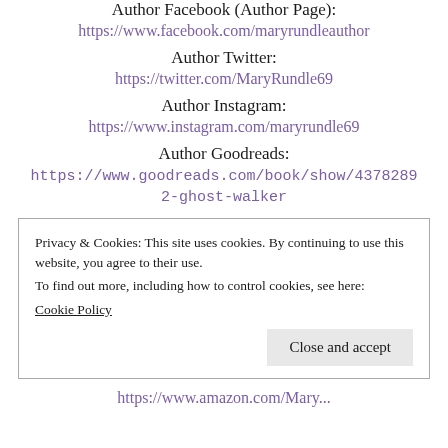Author Facebook (Author Page):
https://www.facebook.com/maryrundleauthor
Author Twitter:
https://twitter.com/MaryRundle69
Author Instagram:
https://www.instagram.com/maryrundle69
Author Goodreads:
https://www.goodreads.com/book/show/43782892-ghost-walker
Privacy & Cookies: This site uses cookies. By continuing to use this website, you agree to their use.
To find out more, including how to control cookies, see here:
Cookie Policy
Close and accept
https://www.amazon.com/Mary...